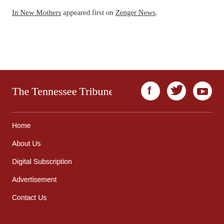In New Mothers appeared first on Zenger News.
[Figure (logo): The Tennessee Tribune masthead logo in white on dark red background]
[Figure (other): Social media icons: Facebook, Twitter, YouTube]
Home
About Us
Digital Subscription
Advertisement
Contact Us